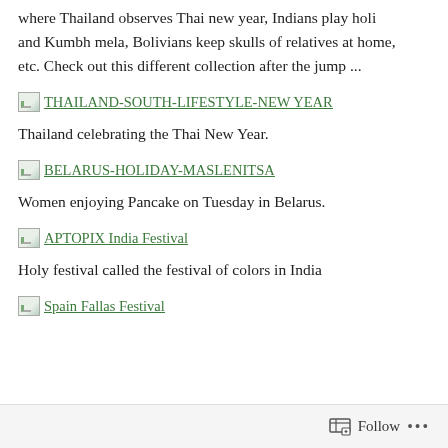where Thailand observes Thai new year, Indians play holi and Kumbh mela, Bolivians keep skulls of relatives at home, etc. Check out this different collection after the jump ...
[Figure (photo): Placeholder image icon followed by link text: THAILAND-SOUTH-LIFESTYLE-NEW YEAR]
Thailand celebrating the Thai New Year.
[Figure (photo): Placeholder image icon followed by link text: BELARUS-HOLIDAY-MASLENITSA]
Women enjoying Pancake on Tuesday in Belarus.
[Figure (photo): Placeholder image icon followed by link text: APTOPIX India Festival]
Holy festival called the festival of colors in India
[Figure (photo): Placeholder image icon followed by link text: Spain Fallas Festival]
Follow ...